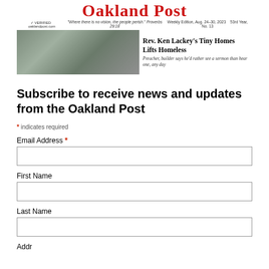[Figure (screenshot): Oakland Post newspaper header with red masthead title 'Oakland Post', tagline, weekly edition info, and a front page banner showing people and a construction photo with headline 'Rev. Ken Lackey's Tiny Homes Lifts Homeless' and subhead 'Preacher, builder says he'd rather see a sermon than hear one, any day']
Subscribe to receive news and updates from the Oakland Post
* indicates required
Email Address *
First Name
Last Name
Address